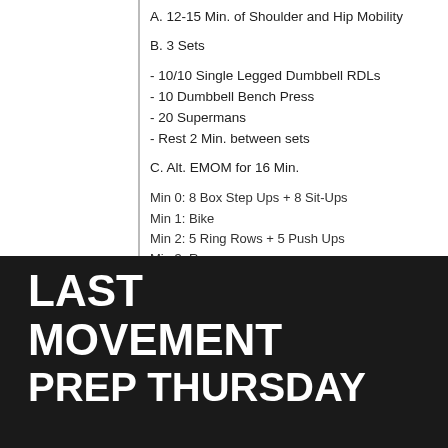A. 12-15 Min. of Shoulder and Hip Mobility
B. 3 Sets
- 10/10 Single Legged Dumbbell RDLs
- 10 Dumbbell Bench Press
- 20 Supermans
- Rest 2 Min. between sets
C. Alt. EMOM for 16 Min.
Min 0: 8 Box Step Ups + 8 Sit-Ups
Min 1: Bike
Min 2: 5 Ring Rows + 5 Push Ups
Min 3: Row
LAST MOVEMENT PREP THURSDAY